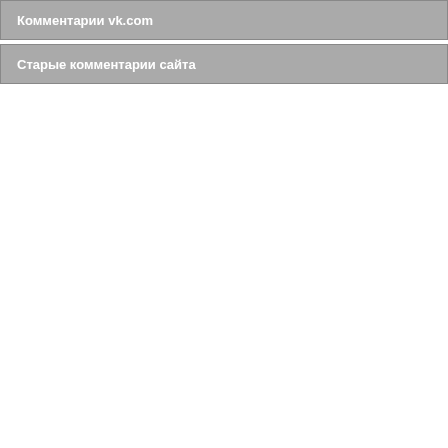Комментарии vk.com
Старые комментарии сайта